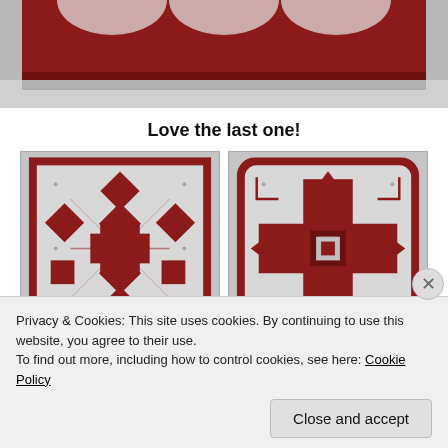[Figure (photo): Top portion of a red and white quilt with decorative pattern, partially cropped at top of page]
Love the last one!
[Figure (photo): Left quilt block showing red and white geometric/medallion pattern with diamond shapes and squares]
[Figure (photo): Right quilt block showing red and white cross/plus pattern with corner squares]
Privacy & Cookies: This site uses cookies. By continuing to use this website, you agree to their use.
To find out more, including how to control cookies, see here: Cookie Policy